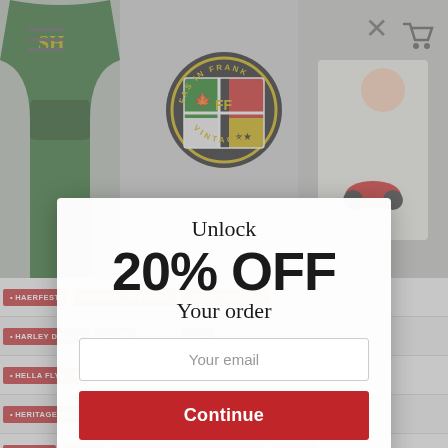[Figure (screenshot): E-commerce website screenshot showing a vintage clothing store 'FAS IN FRANK VINTAGE' with a green hoodie on the left, Betty Boop graphic tee on the right, hamburger menu and cart icons, and a circular logo badge in the center top area. Background shows a tag/category list with items like HAERFEST, HEATHER TRAINERS, HAPPY BIRTHDAY, HARLEY DAVIDSON, HEAT, HELLA FLY IN M, HERITAGE COLLECTION, HIGHSNOBIETY LOOKBOOK, HIP HOP, HOME, HURRICANE SEASON WAS OVER, IAMSU, ICE CUBE, IGGY AZALEA, INFLUENCE OF 2013 BY MWANEL J-L PIERRRE LOUIS, INSPIRATION LA 2013, INTERVIEW, IPAD CASES, JACK DANIELS, JACKETS, JAYKIN, JEANS, JEFFERY, JOEZGRAND, JOGGER PANT, JORDAN, JORDANS]
Unlock
20% OFF
Your order
Your email
Continue